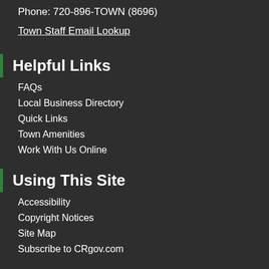Phone: 720-896-TOWN (8696)
Town Staff Email Lookup
Helpful Links
FAQs
Local Business Directory
Quick Links
Town Amenities
Work With Us Online
Using This Site
Accessibility
Copyright Notices
Site Map
Subscribe to CRgov.com